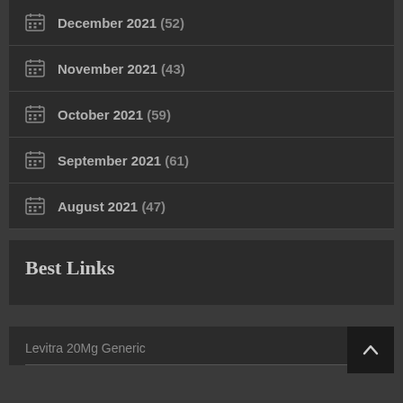December 2021 (52)
November 2021 (43)
October 2021 (59)
September 2021 (61)
August 2021 (47)
Best Links
Levitra 20Mg Generic